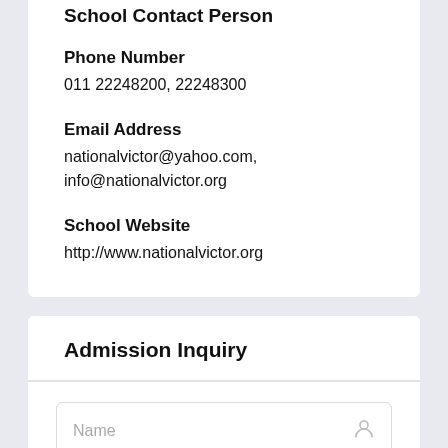School Contact Person
Phone Number
011 22248200, 22248300
Email Address
nationalvictor@yahoo.com,
info@nationalvictor.org
School Website
http://www.nationalvictor.org
Admission Inquiry
Name